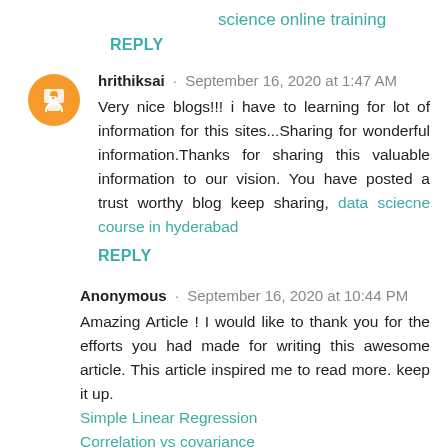science online training
REPLY
hrithiksai · September 16, 2020 at 1:47 AM
Very nice blogs!!! i have to learning for lot of information for this sites...Sharing for wonderful information.Thanks for sharing this valuable information to our vision. You have posted a trust worthy blog keep sharing, data sciecne course in hyderabad
REPLY
Anonymous · September 16, 2020 at 10:44 PM
Amazing Article ! I would like to thank you for the efforts you had made for writing this awesome article. This article inspired me to read more. keep it up. Simple Linear Regression Correlation vs covariance